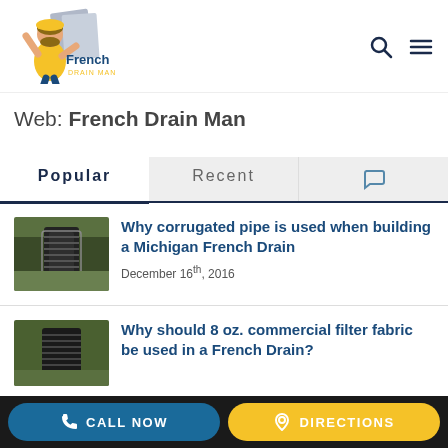[Figure (logo): French Drain Man logo with cartoon man in yellow outfit holding a shovel]
Web: French Drain Man
Popular | Recent | Comments tabs
Why corrugated pipe is used when building a Michigan French Drain
December 16th, 2016
Why should 8 oz. commercial filter fabric be used in a French Drain?
CALL NOW | DIRECTIONS